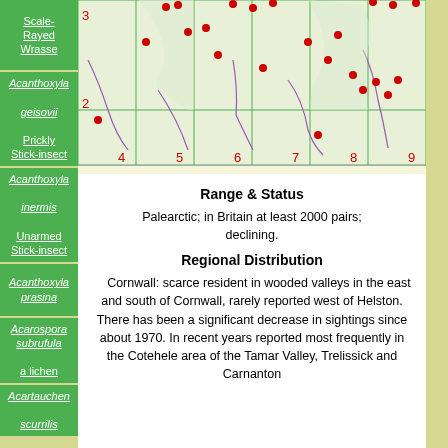Scale-Rayed Wrasse
Acanthoxyla geisovii Prickly Stick-insect
Acanthoxyla inermis Unarmed Stick-insect
Acanthoxyla prasina
Acarospora subrufula a lichen
Acartauchen scurrilis
[Figure (map): Distribution map showing red dot occurrences on a grid map of Cornwall/Britain region with grid references numbered 2-3 on y-axis and 4-9 on x-axis]
Range & Status
Palearctic; in Britain at least 2000 pairs; declining.
Regional Distribution
Cornwall: scarce resident in wooded valleys in the east and south of Cornwall, rarely reported west of Helston. There has been a significant decrease in sightings since about 1970. In recent years reported most frequently in the Cotehele area of the Tamar Valley, Trelissick and Carnanton...